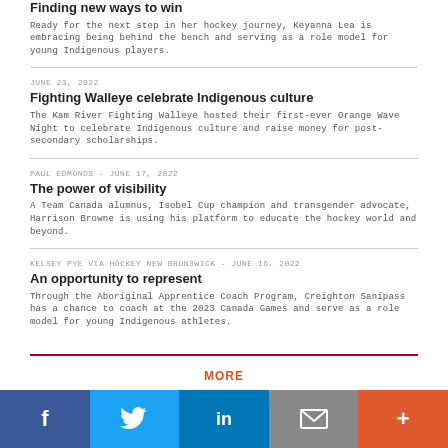Finding new ways to win
Ready for the next step in her hockey journey, Keyanna Lea is embracing being behind the bench and serving as a role model for young Indigenous players.
JUNE 23, 2022
Fighting Walleye celebrate Indigenous culture
The Kam River Fighting Walleye hosted their first-ever Orange Wave Night to celebrate Indigenous culture and raise money for post-secondary scholarships.
PAUL EDMONDS - JUNE 17, 2022
The power of visibility
A Team Canada alumnus, Isobel Cup champion and transgender advocate, Harrison Browne is using his platform to educate the hockey world and beyond.
KELSEY PYE VIA HOCKEY NEW BRUNSWICK - JUNE 16, 2022
An opportunity to represent
Through the Aboriginal Apprentice Coach Program, Creighton Sanipass has a chance to coach at the 2023 Canada Games and serve as a role model for young Indigenous athletes.
MORE
Social share bar: Facebook, Twitter, LinkedIn, Email, More